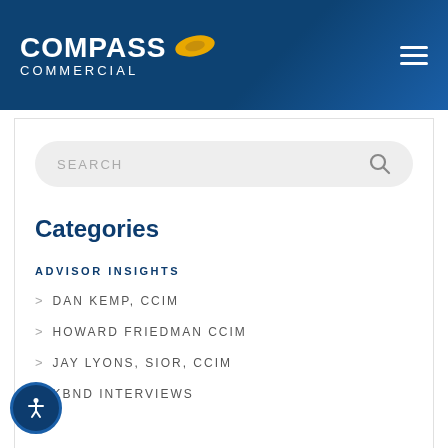COMPASS COMMERCIAL
[Figure (screenshot): Search bar with placeholder text SEARCH and a magnifying glass icon]
Categories
ADVISOR INSIGHTS
DAN KEMP, CCIM
HOWARD FRIEDMAN CCIM
JAY LYONS, SIOR, CCIM
KBND INTERVIEWS